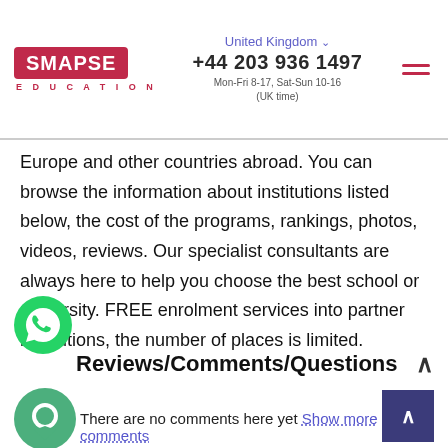SMAPSE EDUCATION | United Kingdom | +44 203 936 1497 | Mon-Fri 8-17, Sat-Sun 10-16 (UK time)
Europe and other countries abroad. You can browse the information about institutions listed below, the cost of the programs, rankings, photos, videos, reviews. Our specialist consultants are always here to help you choose the best school or university. FREE enrolment services into partner institutions, the number of places is limited.
Reviews/Comments/Questions
There are no comments here yet Show more comments